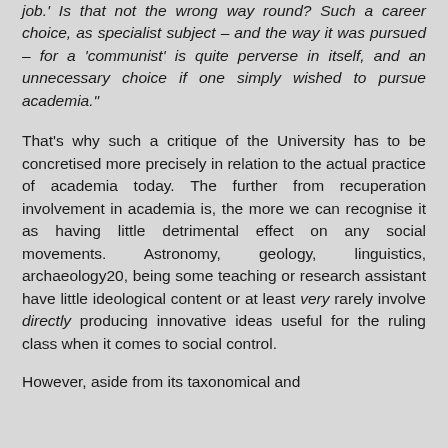job.' Is that not the wrong way round? Such a career choice, as specialist subject – and the way it was pursued – for a 'communist' is quite perverse in itself, and an unnecessary choice if one simply wished to pursue academia."
That's why such a critique of the University has to be concretised more precisely in relation to the actual practice of academia today. The further from recuperation involvement in academia is, the more we can recognise it as having little detrimental effect on any social movements. Astronomy, geology, linguistics, archaeology20, being some teaching or research assistant have little ideological content or at least very rarely involve directly producing innovative ideas useful for the ruling class when it comes to social control.
However, aside from its taxonomical and...